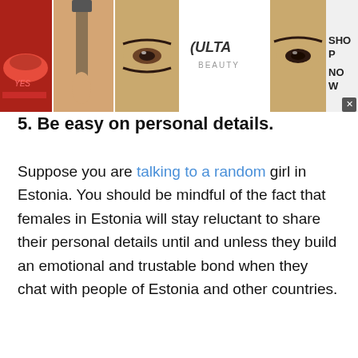[Figure (other): Advertisement banner for Ulta Beauty showing makeup images, Ulta logo, and Shop Now call-to-action]
5. Be easy on personal details.
Suppose you are talking to a random girl in Estonia. You should be mindful of the fact that females in Estonia will stay reluctant to share their personal details until and unless they build an emotional and trustable bond when they chat with people of Estonia and other countries.
In this regard, you should always stay easy on asking for the personal details. If you chat with the people
[Figure (other): Two advertisement units at bottom: car deals ad and disaster pictures ad]